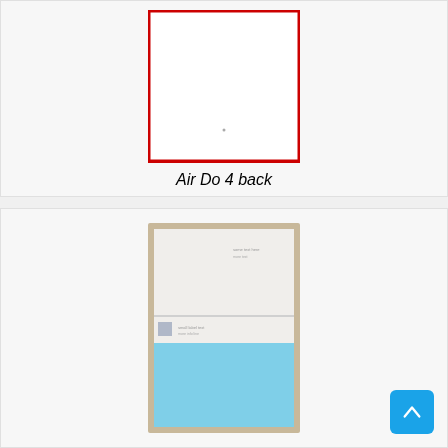[Figure (photo): Air Do 4 back — white rectangular area with red border, representing back of Air Do 4 device/card, mostly blank white]
Air Do 4 back
[Figure (photo): Product photo of a tall narrow package/sleeve with tan/beige border, containing a white upper portion with small text and a light blue lower portion]